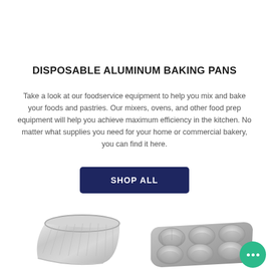DISPOSABLE ALUMINUM BAKING PANS
Take a look at our foodservice equipment to help you mix and bake your foods and pastries. Our mixers, ovens, and other food prep equipment will help you achieve maximum efficiency in the kitchen. No matter what supplies you need for your home or commercial bakery, you can find it here.
[Figure (other): Dark navy blue 'SHOP ALL' button]
[Figure (photo): Two aluminum baking pans: a rectangular loaf pan on the left and a 6-cup muffin pan on the right, with a green chat bubble icon overlapping the muffin pan]